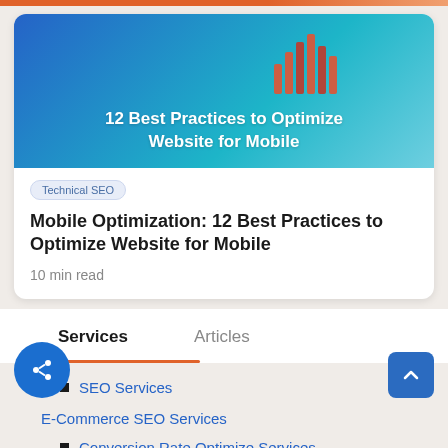[Figure (illustration): Article card with blue-to-teal gradient background showing title '12 Best Practices to Optimize Website for Mobile']
Technical SEO
Mobile Optimization: 12 Best Practices to Optimize Website for Mobile
10 min read
Services
Articles
SEO Services
E-Commerce SEO Services
Conversion Rate Optimize Services
Local SEO Services